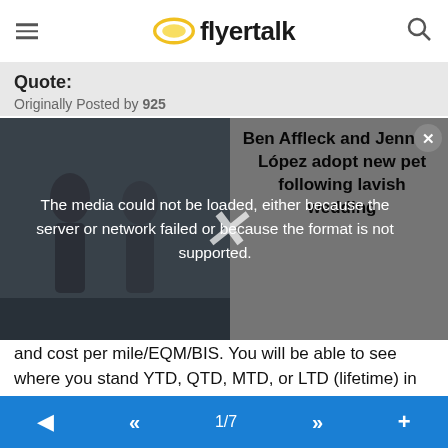flyertalk
Quote:
Originally Posted by 925
[Figure (screenshot): Media overlay with error message: 'The media could not be loaded, either because the server or network failed or because the format is not supported.' with an X close button and news overlay text: 'Ben Affleck and Jennifer Lopez adopt new pet following lavish wedding']
and cost per mile/EQM/BIS. You will be able to see where you stand YTD, QTD, MTD, or LTD (lifetime) in the quest to reach your next status threshhold. Optionally, you can also track flight details such as seat, equipment, tail, captain, upgrade type, etc.
CoMETS will also feature an integrated mileage calculator (inspired by the lack of a Mac version of rmyadsk's excellent Flying Fish mileage calculator). The calculator will add
1/7